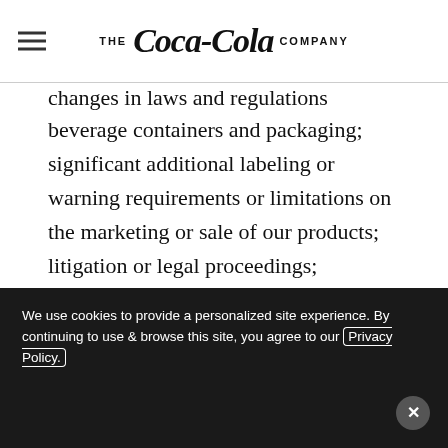THE Coca-Cola COMPANY
changes in laws and regulations relating to beverage containers and packaging; significant additional labeling or warning requirements or limitations on the marketing or sale of our products; litigation or legal proceedings; conducting business in markets with high-risk legal compliance environments; failure to adequately protect, or disputes relating to, trademarks, formulae and other intellectual property
We use cookies to provide a personalized site experience. By continuing to use & browse this site, you agree to our Privacy Policy.